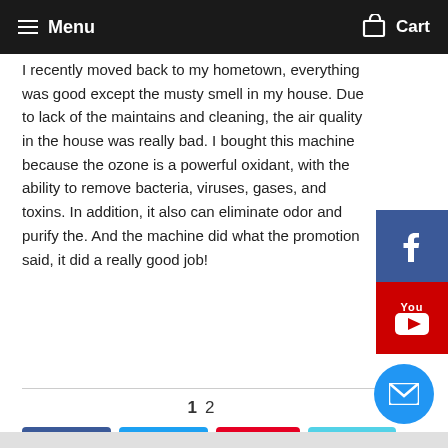≡ Menu   🛒 Cart
I recently moved back to my hometown, everything was good except the musty smell in my house. Due to lack of the maintains and cleaning, the air quality in the house was really bad. I bought this machine because the ozone is a powerful oxidant, with the ability to remove bacteria, viruses, gases, and toxins. In addition, it also can eliminate odor and purify the. And the machine did what the promotion said, it did a really good job!
1 2   Next »
Share  Tweet  Pin it  Fancy  G+ +1